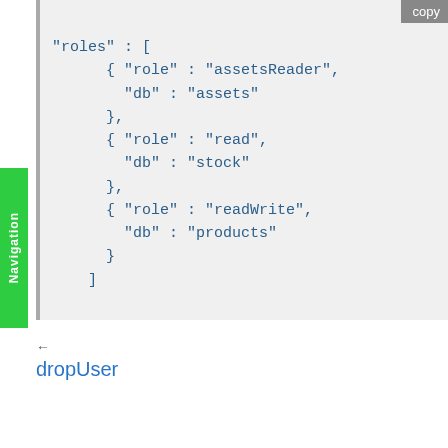[Figure (screenshot): Code block showing JSON roles array with three role objects: assetsReader/assets, read/stock, readWrite/products. Has a 'copy' button in top right corner.]
← dropUser